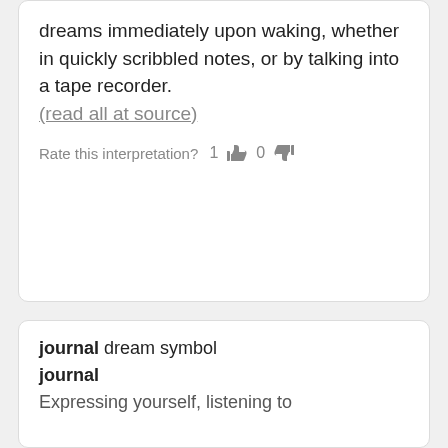dreams immediately upon waking, whether in quickly scribbled notes, or by talking into a tape recorder. (read all at source)
Rate this interpretation? 1 [thumbs up] 0 [thumbs down]
journal dream symbol
journal
Expressing yourself, listening to